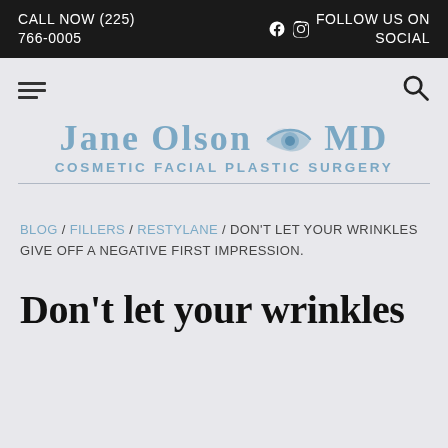CALL NOW (225) 766-0005 | FOLLOW US ON SOCIAL
[Figure (logo): Jane Olson MD Cosmetic Facial Plastic Surgery logo with eye icon]
BLOG / FILLERS / RESTYLANE / DON'T LET YOUR WRINKLES GIVE OFF A NEGATIVE FIRST IMPRESSION.
Don't let your wrinkles